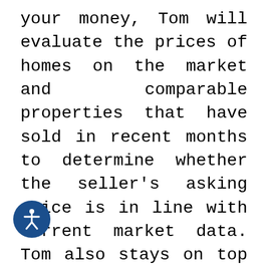your money, Tom will evaluate the prices of homes on the market and comparable properties that have sold in recent months to determine whether the seller's asking price is in line with current market data. Tom also stays on top of the local economy, business developments, community trends, and other factors that can affect the market value of property in the area.

When you partner with Tom, you can be assured that you'll receive the most accurate, reliable, and trustworthy information as you make one of the most important personal and financial decisions in your lifetime. Tom's knowledge and
[Figure (illustration): Accessibility icon: a circular dark blue badge with a white human figure (stick person in universal accessibility pose) in the center.]